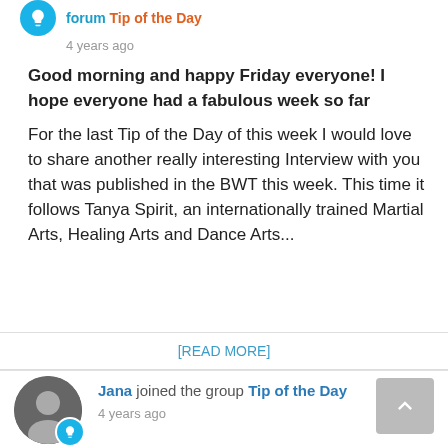forum Tip of the Day · 4 years ago
Good morning and happy Friday everyone! I hope everyone had a fabulous week so far
For the last Tip of the Day of this week I would love to share another really interesting Interview with you that was published in the BWT this week. This time it follows Tanya Spirit, an internationally trained Martial Arts, Healing Arts and Dance Arts...
[READ MORE]
Jana joined the group Tip of the Day · 4 years ago
Mary Rubien started the topic Hottest Tip of the Day – Business Forum Stockholm in the forum Tip of the Day